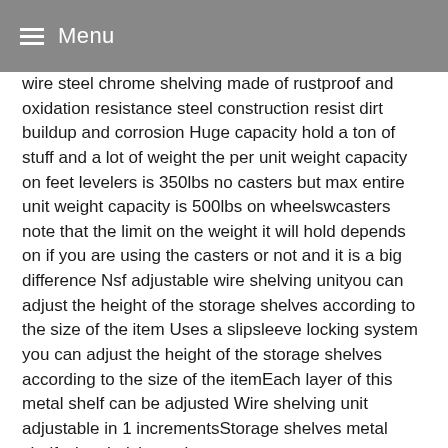Menu
wire steel chrome shelving made of rustproof and oxidation resistance steel construction resist dirt buildup and corrosion Huge capacity hold a ton of stuff and a lot of weight the per unit weight capacity on feet levelers is 350lbs no casters but max entire unit weight capacity is 500lbs on wheelswcasters note that the limit on the weight it will hold depends on if you are using the casters or not and it is a big difference Nsf adjustable wire shelving unityou can adjust the height of the storage shelves according to the size of the item Uses a slipsleeve locking system you can adjust the height of the storage shelves according to the size of the itemEach layer of this metal shelf can be adjusted Wire shelving unit adjustable in 1 incrementsStorage shelves metal shelf wire shelving unit
Our guarantee we are fast delivery and guarantee that our customers receive our products within 35 days If item was damaged during transportation please contact us We will sent replacement parts free of charge in few daysIf you are not satisfied with this storage rack please feel free to ask Unit rack storage shelf metal wire